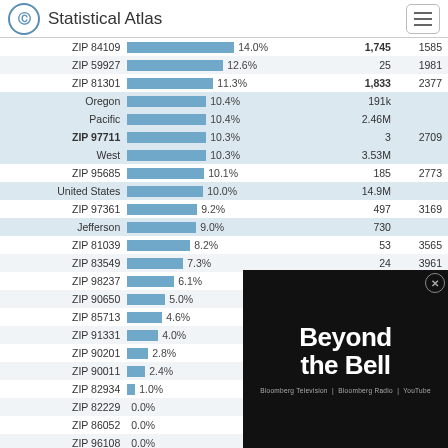Statistical Atlas
| Location | Percent | Count | Rank |
| --- | --- | --- | --- |
| ZIP 84109 | 14.0% | 1,745 | 1585 |
| ZIP 59927 | 12.6% | 25 | 1981 |
| ZIP 81301 | 11.3% | 1,833 | 2377 |
| Oregon | 10.4% | 191k |  |
| Pacific | 10.4% | 2.46M |  |
| ZIP 97711 | 10.3% | 3 | 2709 |
| West | 10.3% | 3.53M |  |
| ZIP 95685 | 10.1% | 185 | 2773 |
| United States | 10.0% | 14.9M |  |
| ZIP 97361 | 9.2% | 497 | 3169 |
| Jefferson | 9.0% | 730 |  |
| ZIP 81039 | 8.2% | 53 | 3565 |
| ZIP 83549 | 7.3% | 24 | 3961 |
| ZIP 98237 | 6.1% | 99 | 4357 |
| ZIP 90650 | 5.0% | 2,300 | 4667 |
| ZIP 85713 | 4.6% | 844 | 4753 |
| ZIP 91331 | 4.0% | 1,802 | 4856 |
| ZIP 90201 | 2.8% | 1,195 | 5023 |
| ZIP 90011 | 2.4% |  |  |
| ZIP 82934 | 1.0% |  |  |
| ZIP 82229 | 0.0% |  |  |
| ZIP 86052 | 0.0% |  |  |
| ZIP 96108 | 0.0% |  |  |
| ZIP 99790 | 0.0% |  |  |
| ZIP 99034 | 0.0% |  |  |
[Figure (screenshot): Bloomberg 'Beyond the Bell' video overlay with Bloomberg Television, Bloomberg Radio, YouTube branding]